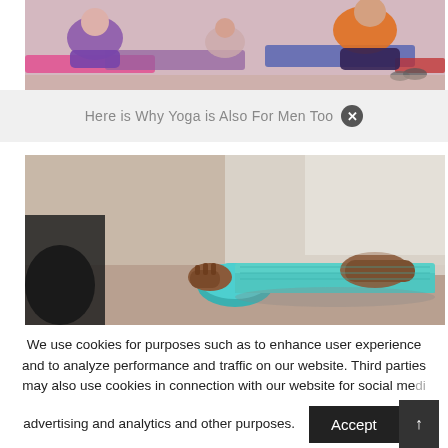[Figure (photo): People doing yoga on colorful mats, viewed from behind, sitting poses]
Here is Why Yoga is Also For Men Too
[Figure (photo): Close-up of hands rolling a teal/turquoise yoga mat]
We use cookies for purposes such as to enhance user experience and to analyze performance and traffic on our website. Third parties may also use cookies in connection with our website for social media advertising and analytics and other purposes.
Accept